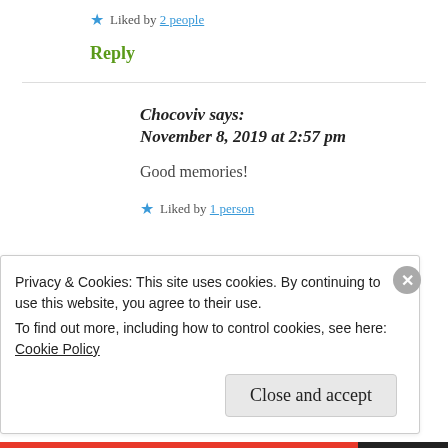★ Liked by 2 people
Reply
Chocoviv says:
November 8, 2019 at 2:57 pm
Good memories!
★ Liked by 1 person
Privacy & Cookies: This site uses cookies. By continuing to use this website, you agree to their use.
To find out more, including how to control cookies, see here: Cookie Policy
Close and accept